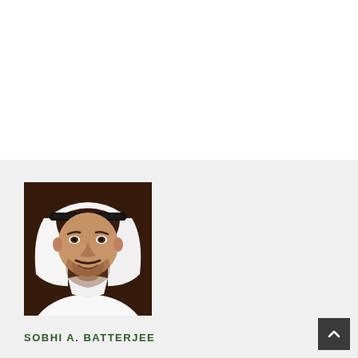[Figure (photo): Portrait photo of a man wearing traditional Arab attire (white thobe and black-trimmed headscarf) against a dark brown background, smiling.]
SOBHI A. BATTERJEE